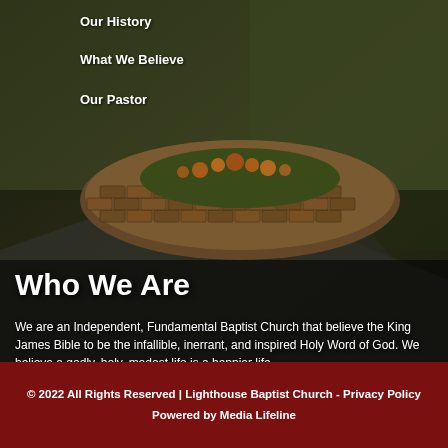[Figure (photo): Outdoor photo of a brick circular garden planter with flowers on a lawn with green grass, dark background]
Our History
What We Believe
Our Pastor
Who We Are
We are an Independent, Fundamental Baptist Church that believe the King James Bible to be the infallible, inerrant, and inspired Holy Word of God. We believe a godly, holy, modest life is a happier life.
More Information
© 2022 All Rights Reserved | Lighthouse Baptist Church - Privacy Policy
Powered by Media Lifeline